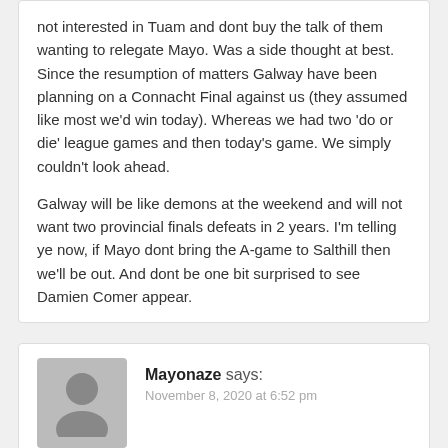not interested in Tuam and dont buy the talk of them wanting to relegate Mayo. Was a side thought at best. Since the resumption of matters Galway have been planning on a Connacht Final against us (they assumed like most we'd win today). Whereas we had two 'do or die' league games and then today's game. We simply couldn't look ahead.

Galway will be like demons at the weekend and will not want two provincial finals defeats in 2 years. I'm telling ye now, if Mayo dont bring the A-game to Salthill then we'll be out. And dont be one bit surprised to see Damien Comer appear.
[Figure (illustration): Generic user avatar icon - silhouette of a person on grey background]
Mayonaze says:
November 8, 2020 at 6:52 pm
And a league relegation coupled with a provincial defeat(AGAIN) for Mayo would be a very bad season for Horan and the Mayo team. I hope they are absolutely gunning to atone for the relation and the fact that the Nestor